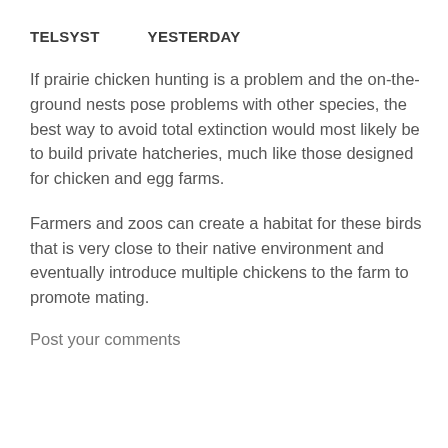TELSYST   YESTERDAY
If prairie chicken hunting is a problem and the on-the-ground nests pose problems with other species, the best way to avoid total extinction would most likely be to build private hatcheries, much like those designed for chicken and egg farms.
Farmers and zoos can create a habitat for these birds that is very close to their native environment and eventually introduce multiple chickens to the farm to promote mating.
Post your comments